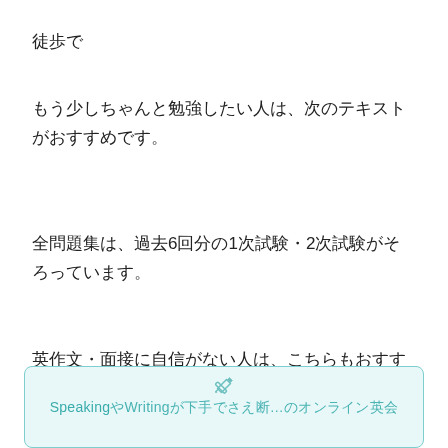徒歩で
もう少しちゃんと勉強したい人は、次のテキストがおすすめです。
全問題集は、過去6回分の1次試験・2次試験がそろっています。
英作文・面接に自信がない人は、こちらもおすすめ！
[Figure (infographic): A light teal/cyan bordered box with a pencil icon and partial text about Speaking/Writing, partially visible at the bottom of the page.]